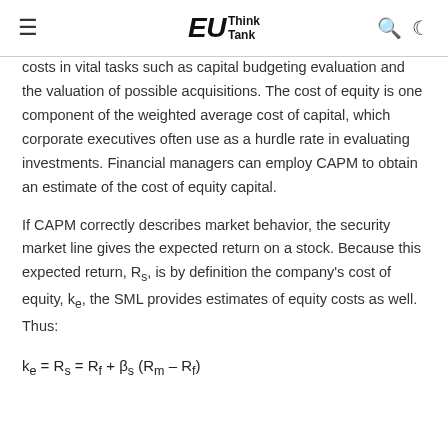EU Think Tank
costs in vital tasks such as capital budgeting evaluation and the valuation of possible acquisitions. The cost of equity is one component of the weighted average cost of capital, which corporate executives often use as a hurdle rate in evaluating investments. Financial managers can employ CAPM to obtain an estimate of the cost of equity capital.
If CAPM correctly describes market behavior, the security market line gives the expected return on a stock. Because this expected return, Rs, is by definition the company's cost of equity, ke, the SML provides estimates of equity costs as well. Thus: